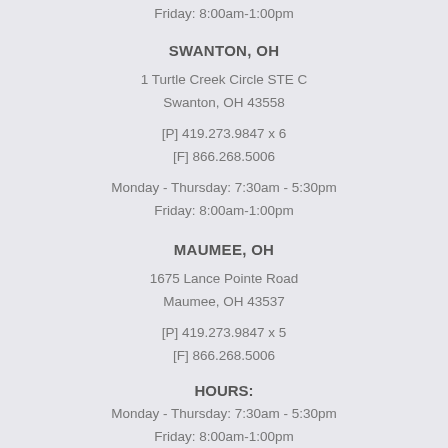Friday: 8:00am-1:00pm
SWANTON, OH
1 Turtle Creek Circle STE C
Swanton, OH 43558
[P] 419.273.9847 x 6
[F] 866.268.5006
Monday - Thursday: 7:30am - 5:30pm
Friday: 8:00am-1:00pm
MAUMEE, OH
1675 Lance Pointe Road
Maumee, OH 43537
[P] 419.273.9847 x 5
[F] 866.268.5006
HOURS:
Monday - Thursday: 7:30am - 5:30pm
Friday: 8:00am-1:00pm
OAK HARBOR